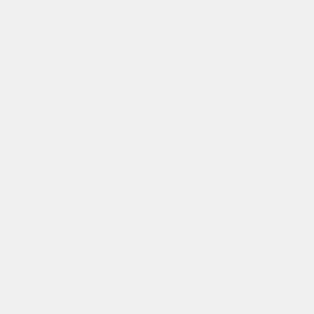[Figure (screenshot): Partial PHP code block showing for loop with echo statement: for ($i = 0; $i < 10; $i++) { echo $myvar . "\n"; }]
HTML Code
The [html] tag allows you to perform syntax highlighting for HTML code.
|  |  |
| --- | --- |
| Usage | [html]value[/html] |
| Example Usage | [html]
<img src="image.gif" alt="image" />
<a href="testing.html" target="_blank">T
[/html] |
| Example Output | HTML Code:
<img src="image.gif" alt=" ...
<a href="testing.html" tar... |
Quote